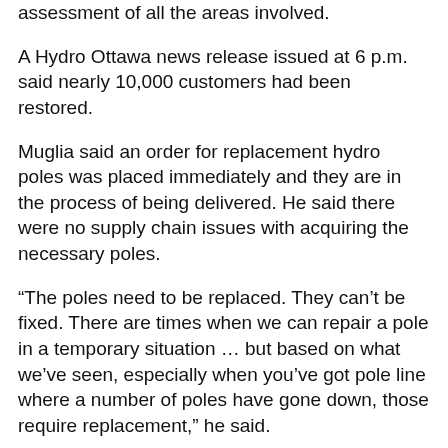assessment of all the areas involved.
A Hydro Ottawa news release issued at 6 p.m. said nearly 10,000 customers had been restored.
Muglia said an order for replacement hydro poles was placed immediately and they are in the process of being delivered. He said there were no supply chain issues with acquiring the necessary poles.
“The poles need to be replaced. They can’t be fixed. There are times when we can repair a pole in a temporary situation … but based on what we’ve seen, especially when you’ve got pole line where a number of poles have gone down, those require replacement,” he said.
Muglia also said it could take three to four days to have everyone back online. Hydro Ottawa is prioritizing community infrastructure such as hospitals while assessing which customers can be restored safely.